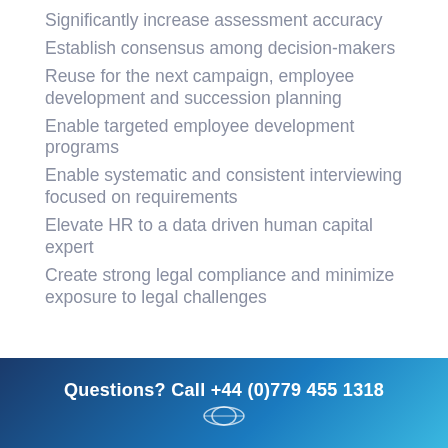Significantly increase assessment accuracy
Establish consensus among decision-makers
Reuse for the next campaign, employee development and succession planning
Enable targeted employee development programs
Enable systematic and consistent interviewing focused on requirements
Elevate HR to a data driven human capital expert
Create strong legal compliance and minimize exposure to legal challenges
Questions? Call +44 (0)779 455 1318